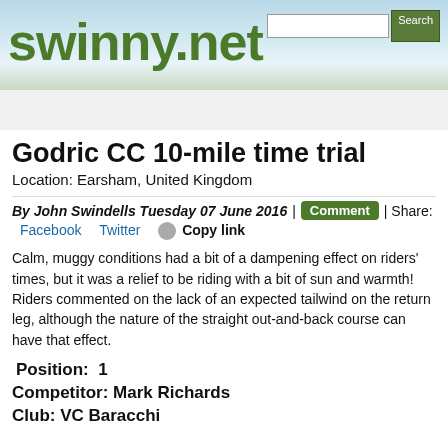swinny.net
Godric CC 10-mile time trial
Location: Earsham, United Kingdom
By John Swindells Tuesday 07 June 2016 | Comment | Share:
Facebook   Twitter   Copy link
Calm, muggy conditions had a bit of a dampening effect on riders' times, but it was a relief to be riding with a bit of sun and warmth! Riders commented on the lack of an expected tailwind on the return leg, although the nature of the straight out-and-back course can have that effect.
Position:  1
Competitor: Mark Richards
Club: VC Baracchi